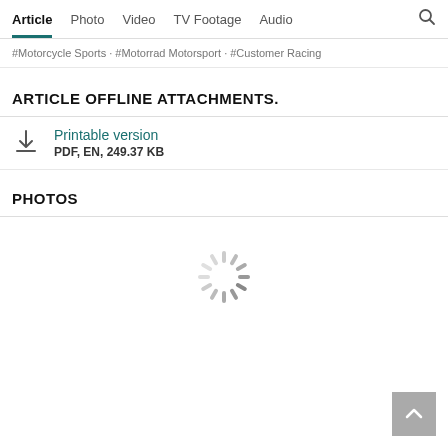Article  Photo  Video  TV Footage  Audio
#Motorcycle Sports · #Motorrad Motorsport · #Customer Racing
ARTICLE OFFLINE ATTACHMENTS.
Printable version
PDF, EN, 249.37 KB
PHOTOS
[Figure (other): Loading spinner animation graphic]